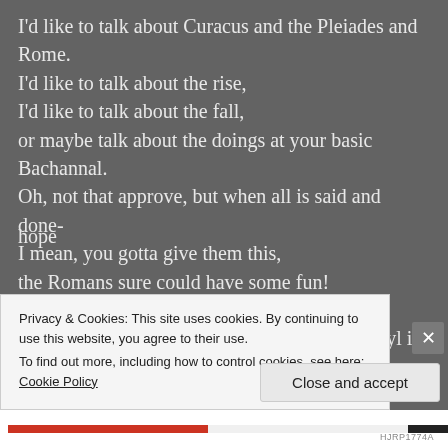I'd like to talk about Curacus and the Pleiades and Rome.
I'd like to talk about the rise,
I'd like to talk about the fall,
or maybe talk about the doings at your basic Bachannal.
Oh, not that approve, but when all is said and done-
I mean, you gotta give them this,
the Romans sure could have some fun!
And then of course, you've got the French,
the Pakistanis and the Dutch, and tell me Darryl is it me,
or am I talking way too much?
I'd like to talk about the heroes that can always give me
hope
Privacy & Cookies: This site uses cookies. By continuing to use this website, you agree to their use.
To find out more, including how to control cookies, see here: Cookie Policy
Close and accept